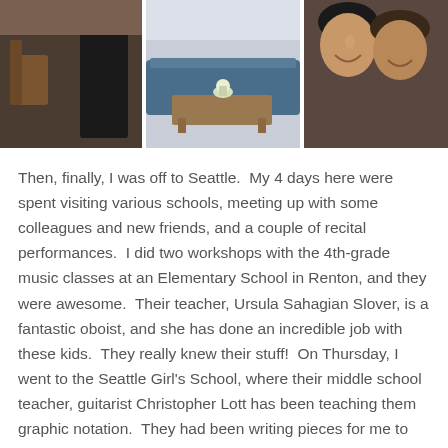[Figure (photo): Three side-by-side photos: left shows a person in dark clothing standing near a chair, center shows an interior room with a blue sofa and coffee table with flowers, right shows two smiling people in a selfie-style photo.]
Then, finally, I was off to Seattle.  My 4 days here were spent visiting various schools, meeting up with some colleagues and new friends, and a couple of recital performances.  I did two workshops with the 4th-grade music classes at an Elementary School in Renton, and they were awesome.  Their teacher, Ursula Sahagian Slover, is a fantastic oboist, and she has done an incredible job with these kids.  They really knew their stuff!  On Thursday, I went to the Seattle Girl's School, where their middle school teacher, guitarist Christopher Lott has been teaching them graphic notation.  They had been writing pieces for me to play and we had a great time putting them together and figuring out what kinds of cello sounds to use. And on Friday, I went to Hamlin Robinson School, which is a K-8 school dedicated to teaching kids with dyslexia, giving them the tools they need to succeed